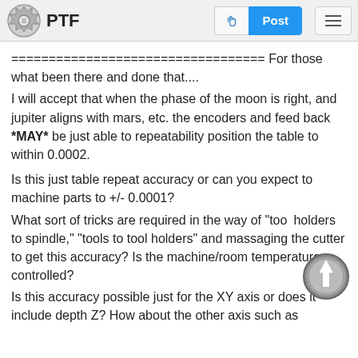PTF | Post
================================== For those what been there and done that....
I will accept that when the phase of the moon is right, and jupiter aligns with mars, etc. the encoders and feed back *MAY* be just able to repeatability position the table to within 0.0002.
Is this just table repeat accuracy or can you expect to machine parts to +/- 0.0001?
What sort of tricks are required in the way of "tool holders to spindle," "tools to tool holders" and massaging the cutter to get this accuracy? Is the machine/room temperature controlled?
Is this accuracy possible just for the XY axis or does it include depth Z? How about the other axis such as